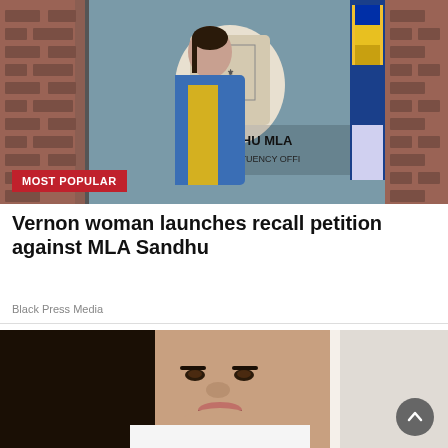[Figure (photo): Woman in blue blazer and yellow floral dress standing in front of a sign reading 'R SANDHU MLA EE CONSTITUENCY OFFI' with British Columbia coat of arms and flags visible]
MOST POPULAR
Vernon woman launches recall petition against MLA Sandhu
Black Press Media
[Figure (photo): Close-up portrait of a woman with dark hair, smiling, wearing white]